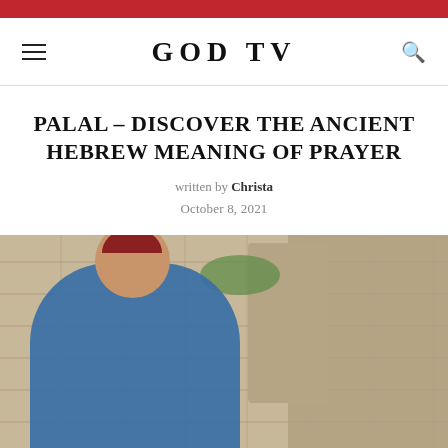GOD TV
PALAL – DISCOVER THE ANCIENT HEBREW MEANING OF PRAYER
written by Christa
October 8, 2021
[Figure (photo): A young man wearing a blue shirt and red kippah bowing his head in prayer at the Western Wall in Jerusalem, with stone walls visible in the background.]